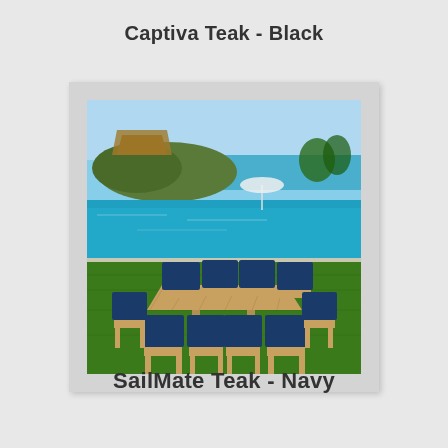Captiva Teak - Black
[Figure (photo): Outdoor teak dining set with navy blue cushioned chairs arranged around a rectangular teak table on a grass lawn, with an infinity pool and ocean view in the background, and a palapa structure visible in the distance.]
SailMate Teak - Navy